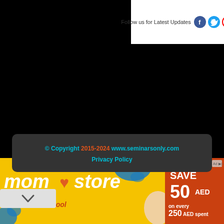Follow us for Latest Updates
© Copyright 2015-2024    www.seminarsonly.com
Privacy Policy
[Figure (infographic): Advertisement banner for mom store - Back to School sale: SAVE 50 AED on every 250 AED spent]